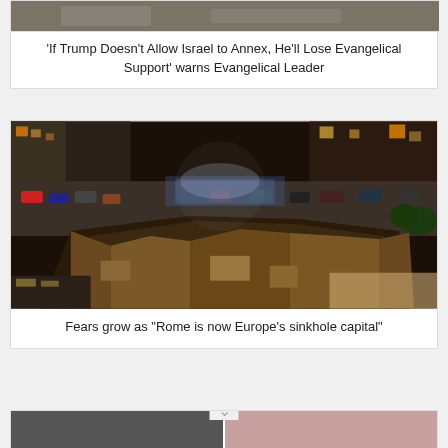[Figure (photo): Partial image of a news article card at the top, partially cut off]
'If Trump Doesn't Allow Israel to Annex, He'll Lose Evangelical Support' warns Evangelical Leader
[Figure (photo): Aerial nighttime photograph of a large sinkhole that has opened in a Rome street, with buildings and cars visible around the edges of the collapse]
Fears grow as "Rome is now Europe's sinkhole capital"
[Figure (photo): Partial thumbnails of another news article card at the bottom of the page, partially cut off]